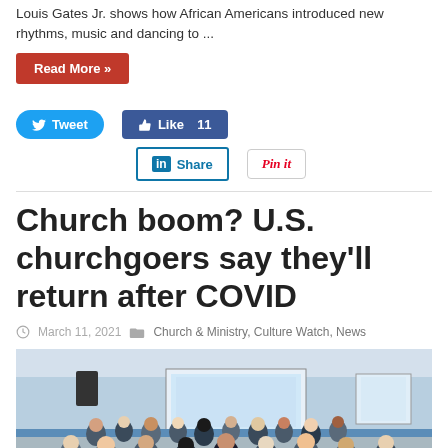Louis Gates Jr. shows how African Americans introduced new rhythms, music and dancing to ...
Read More »
Tweet | Like 11 | Share | Pin it
Church boom? U.S. churchgoers say they'll return after COVID
March 11, 2021   Church & Ministry, Culture Watch, News
[Figure (photo): A crowd of churchgoers viewed from behind, gathered in a room with a projection screen at the front, speaker on the left, and windows on the right.]